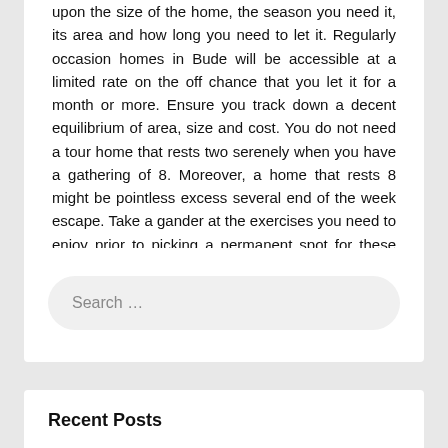upon the size of the home, the season you need it, its area and how long you need to let it. Regularly occasion homes in Bude will be accessible at a limited rate on the off chance that you let it for a month or more. Ensure you track down a decent equilibrium of area, size and cost. You do not need a tour home that rests two serenely when you have a gathering of 8. Moreover, a home that rests 8 might be pointless excess several end of the week escape. Take a gander at the exercises you need to enjoy prior to picking a permanent spot for these special seasons.
Search ...
Recent Posts